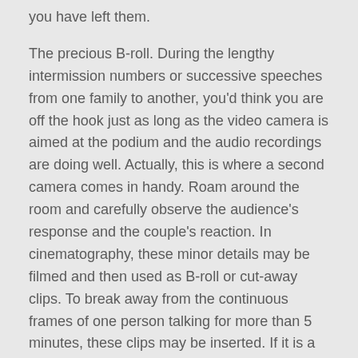you have left them.
The precious B-roll. During the lengthy intermission numbers or successive speeches from one family to another, you'd think you are off the hook just as long as the video camera is aimed at the podium and the audio recordings are doing well. Actually, this is where a second camera comes in handy. Roam around the room and carefully observe the audience's response and the couple's reaction. In cinematography, these minor details may be filmed and then used as B-roll or cut-away clips. To break away from the continuous frames of one person talking for more than 5 minutes, these clips may be inserted. If it is a one-camera shoot, be quick to switch views in between scenes such as when the bride and groom are chatting up in another table or when the priest goes down the altar to prepare the couple's papers. Use up your time wisely and shoot as many clips possible.